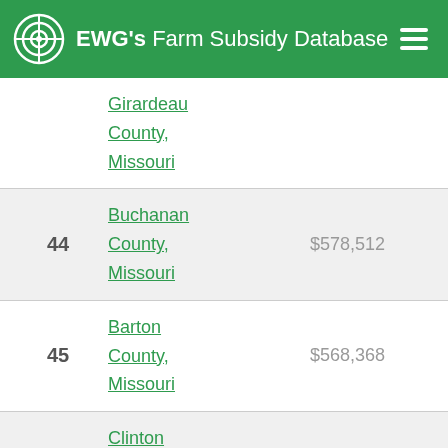EWG's Farm Subsidy Database
| Rank | County | Amount |
| --- | --- | --- |
|  | Girardeau County, Missouri |  |
| 44 | Buchanan County, Missouri | $578,512 |
| 45 | Barton County, Missouri | $568,368 |
| 46 | Clinton County, Missouri | $479,271 |
| 47 | Lincoln County, Missouri | $459,636 |